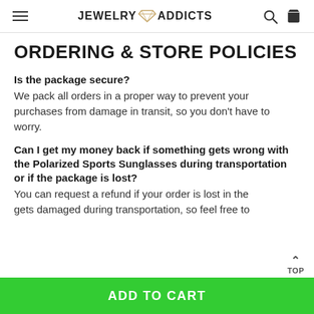JEWELRY ADDICTS
ORDERING & STORE POLICIES
Is the package secure?
We pack all orders in a proper way to prevent your purchases from damage in transit, so you don't have to worry.
Can I get my money back if something gets wrong with the Polarized Sports Sunglasses during transportation or if the package is lost?
You can request a refund if your order is lost in the gets damaged during transportation, so feel free to
ADD TO CART